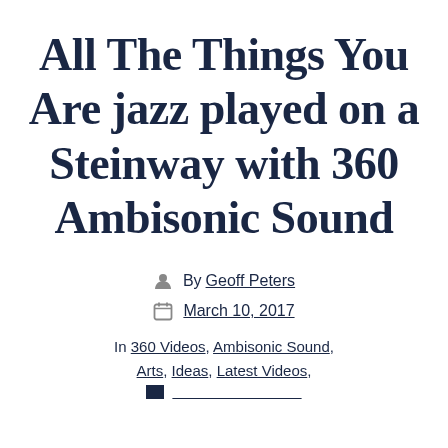All The Things You Are jazz played on a Steinway with 360 Ambisonic Sound
By Geoff Peters
March 10, 2017
In 360 Videos, Ambisonic Sound, Arts, Ideas, Latest Videos,